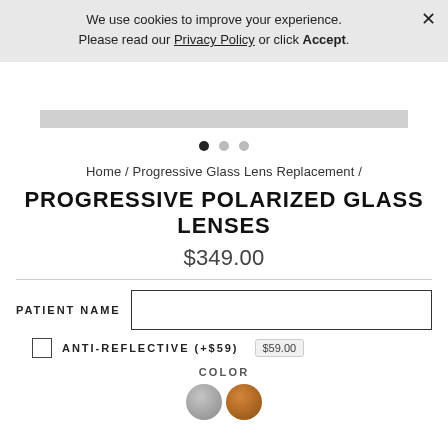We use cookies to improve your experience. Please read our Privacy Policy or click Accept.
×
[Figure (illustration): Grey image strip placeholder for product image carousel]
● ○ ○
Home / Progressive Glass Lens Replacement /
PROGRESSIVE POLARIZED GLASS LENSES
$349.00
PATIENT NAME [input field]
ANTI-REFLECTIVE (+$59)  $59.00
COLOR
[Figure (illustration): Color swatches: grey and amber/brown]